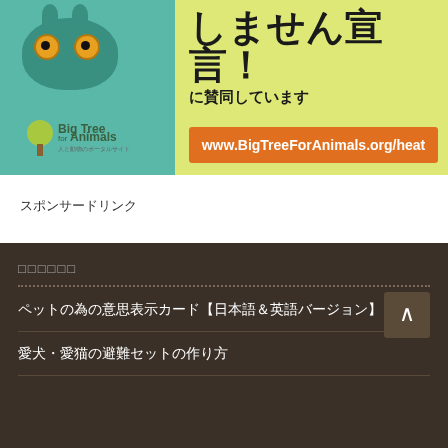[Figure (illustration): Big Tree for Animals promotional banner with green cartoon monster character, yellow-green background, Japanese text 'しません宣言！に賛同しています' and orange URL box with www.BigTreeForAnimals.org/heat]
スポンサードリンク
□□□□□□
ペットの為の意思表示カード【日本語＆英語バージョン】
愛犬・愛猫の避難セットの作り方